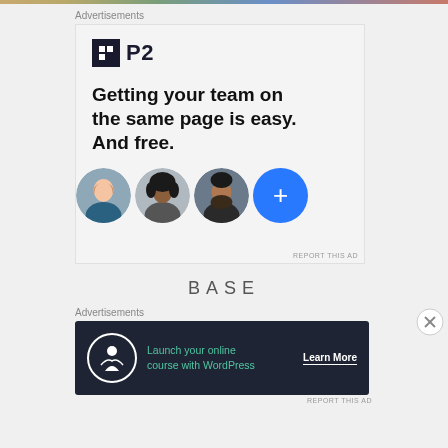[Figure (other): Top decorative color bar strip]
Advertisements
[Figure (infographic): P2 advertisement: logo with black square icon and 'P2' text, headline 'Getting your team on the same page is easy. And free.', three circular profile photo avatars and a blue plus button circle. REPORT THIS AD label at bottom right.]
BASE
Advertisements
[Figure (infographic): Dark navy advertisement banner: circular icon with tree/person symbol, green text 'Launch your online course with WordPress', white 'Learn More' button text with underline. REPORT THIS AD label at bottom right.]